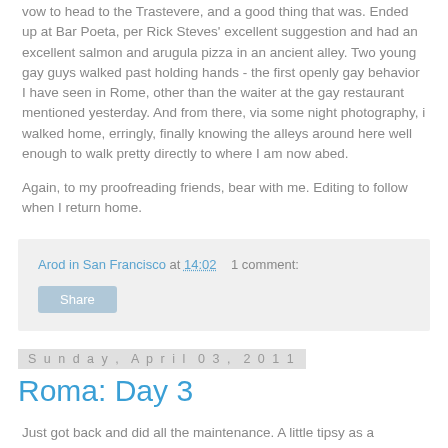vow to head to the Trastevere, and a good thing that was. Ended up at Bar Poeta, per Rick Steves' excellent suggestion and had an excellent salmon and arugula pizza in an ancient alley. Two young gay guys walked past holding hands - the first openly gay behavior I have seen in Rome, other than the waiter at the gay restaurant mentioned yesterday. And from there, via some night photography, i walked home, erringly, finally knowing the alleys around here well enough to walk pretty directly to where I am now abed.
Again, to my proofreading friends, bear with me. Editing to follow when I return home.
Arod in San Francisco at 14:02   1 comment:
Share
Sunday, April 03, 2011
Roma: Day 3
Just got back and did all the maintenance. A little tipsy as a